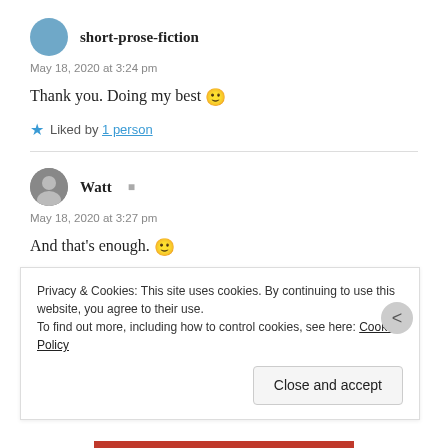short-prose-fiction
May 18, 2020 at 3:24 pm
Thank you. Doing my best 🙂
★ Liked by 1 person
Watt
May 18, 2020 at 3:27 pm
And that's enough. 🙂
Privacy & Cookies: This site uses cookies. By continuing to use this website, you agree to their use. To find out more, including how to control cookies, see here: Cookie Policy